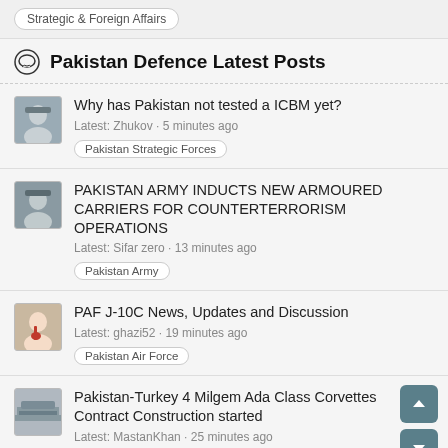Strategic & Foreign Affairs
Pakistan Defence Latest Posts
Why has Pakistan not tested a ICBM yet? Latest: Zhukov · 5 minutes ago Pakistan Strategic Forces
PAKISTAN ARMY INDUCTS NEW ARMOURED CARRIERS FOR COUNTERTERRORISM OPERATIONS Latest: Sifar zero · 13 minutes ago Pakistan Army
PAF J-10C News, Updates and Discussion Latest: ghazi52 · 19 minutes ago Pakistan Air Force
Pakistan-Turkey 4 Milgem Ada Class Corvettes Contract Construction started Latest: MastanKhan · 25 minutes ago Pakistan Navy